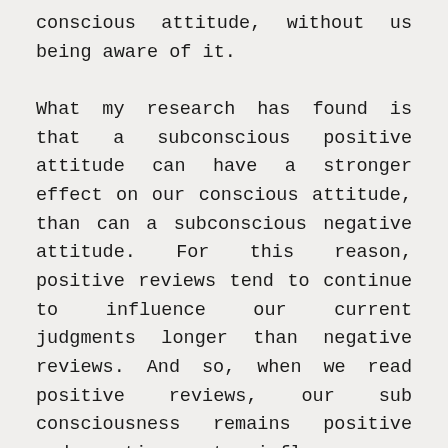conscious attitude, without us being aware of it.

What my research has found is that a subconscious positive attitude can have a stronger effect on our conscious attitude, than can a subconscious negative attitude. For this reason, positive reviews tend to continue to influence our current judgments longer than negative reviews. And so, when we read positive reviews, our sub consciousness remains positive and continues to influence our judgments when we read negative reviews. The result is that when we read negative reviews they don't appear to be as negative as they actually are. This in turn leads to a less accurate decision, and more chance of making a regretful purchase.